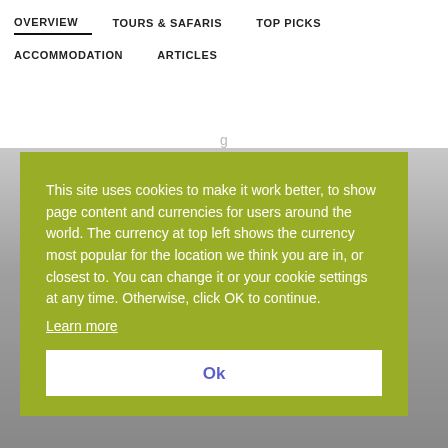OVERVIEW   TOURS & SAFARIS   TOP PICKS   ACCOMMODATION   ARTICLES
[Figure (screenshot): Background image of a meal/food setting, partially visible behind cookie consent modal, with overlaid italic text 'Not sure where to take your kids in Cape Town?' and subtitle 'Check out our Top 20 places to visit for kids & families in Cape Town']
This site uses cookies to make it work better, to show page content and currencies for users around the world. The currency at top left shows the currency most popular for the location we think you are in, or closest to. You can change it or your cookie settings at any time. Otherwise, click OK to continue.
Learn more
Ok